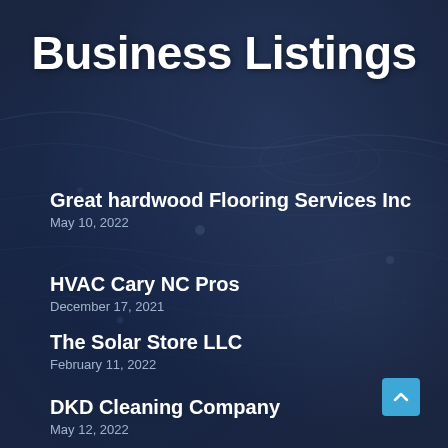Business Listings
Great hardwood Flooring Services Inc
May 10, 2022
HVAC Cary NC Pros
December 17, 2021
The Solar Store LLC
February 11, 2022
DKD Cleaning Company
May 12, 2022